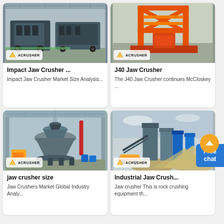[Figure (photo): Impact Jaw Crusher machine in warehouse/factory, Acrusher branding]
Impact Jaw Crusher ...
Impact Jaw Crusher Market Size Analysis...
[Figure (photo): J40 Jaw Crusher orange machine in factory, Acrusher branding]
J40 Jaw Crusher
The J40 Jaw Crusher continues McCloskey ...
[Figure (photo): Jaw crusher size - large cone crusher in industrial facility, Acrusher branding]
jaw crusher size
Jaw Crushers Market Global Industry Analy...
[Figure (photo): Industrial Jaw Crusher - outdoor quarry/crushing site, Acrusher branding]
Industrial Jaw Crush...
Jaw crusher This is rock crushing equipment th...